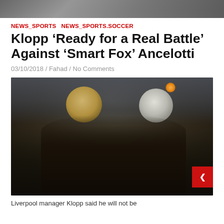[Figure (photo): Top portion of a sports photograph partially visible]
NEWS_SPORTS  NEWS_SPORTS.SOCCER
Klopp ‘Ready for a Real Battle’ Against ‘Smart Fox’ Ancelotti
03/10/2018 / Fahad / No Comments
[Figure (photo): Photo of Jurgen Klopp and Carlo Ancelotti greeting each other on the touchline, smiling and embracing. Crowd blurred in background. Red button/icon in bottom-right corner of image.]
Liverpool manager Klopp said he will not be